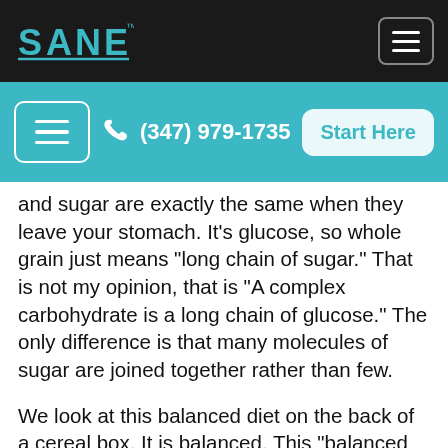SANE [logo] | hamburger menu
≡  (347) 979-1735  Start Here
and sugar are exactly the same when they leave your stomach. It's glucose, so whole grain just means "long chain of sugar." That is not my opinion, that is "A complex carbohydrate is a long chain of glucose." The only difference is that many molecules of sugar are joined together rather than few.
We look at this balanced diet on the back of a cereal box. It is balanced. This "balanced diet" gets about 80% of it's calories from sugar. To put that in perspective, the Atkins Diet which is world renowned for being a high fat diet, in fact Congress required Dr. Atkins to come and testify before them for